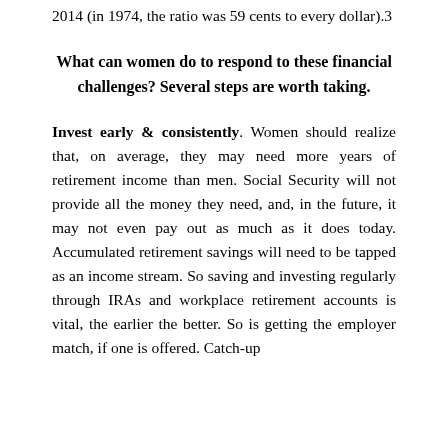2014 (in 1974, the ratio was 59 cents to every dollar).3
What can women do to respond to these financial challenges? Several steps are worth taking.
Invest early & consistently. Women should realize that, on average, they may need more years of retirement income than men. Social Security will not provide all the money they need, and, in the future, it may not even pay out as much as it does today. Accumulated retirement savings will need to be tapped as an income stream. So saving and investing regularly through IRAs and workplace retirement accounts is vital, the earlier the better. So is getting the employer match, if one is offered. Catch-up